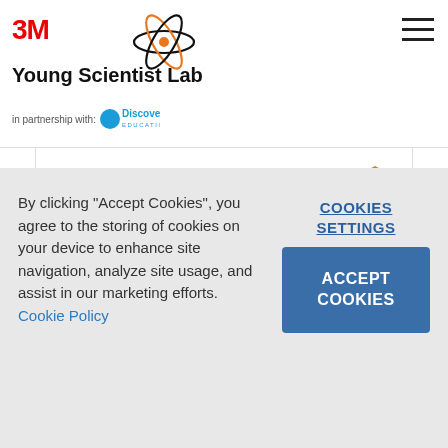3M Young Scientist Lab — in partnership with Discovery Education
2013 State Merit Winner
8th grade
Missouri
By clicking "Accept Cookies", you agree to the storing of cookies on your device to enhance site navigation, analyze site usage, and assist in our marketing efforts. Cookie Policy
COOKIES SETTINGS
ACCEPT COOKIES